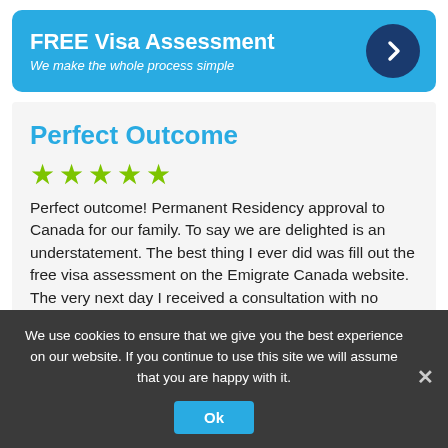[Figure (infographic): FREE Visa Assessment banner with cyan background, bold white title 'FREE Visa Assessment', italic subtitle 'We make the whole process simple', and a dark blue circle with a right-pointing chevron arrow on the right.]
Perfect Outcome
[Figure (infographic): Five green star rating icons in a row]
Perfect outcome! Permanent Residency approval to Canada for our family. To say we are delighted is an understatement. The best thing I ever did was fill out the free visa assessment on the Emigrate Canada website. The very next day I received a consultation with no obligation checking my eligibility to
We use cookies to ensure that we give you the best experience on our website. If you continue to use this site we will assume that you are happy with it.
Ok